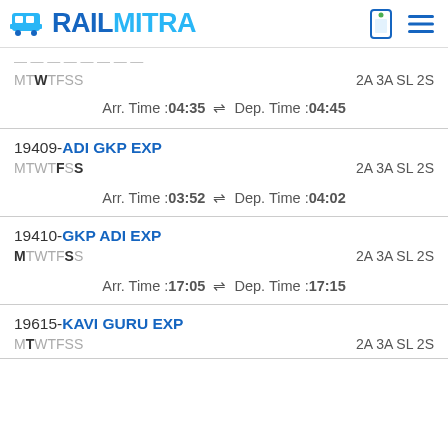RAILMITRA
MTW TFSS   2A 3A SL 2S
Arr. Time :04:35 ⇌ Dep. Time :04:45
19409-ADI GKP EXP
MTWT FSS   2A 3A SL 2S
Arr. Time :03:52 ⇌ Dep. Time :04:02
19410-GKP ADI EXP
M TWTF SS   2A 3A SL 2S
Arr. Time :17:05 ⇌ Dep. Time :17:15
19615-KAVI GURU EXP
M TWTFSS   2A 3A SL 2S